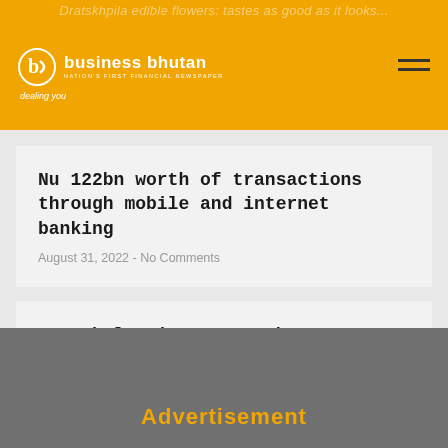business bhutan — NATION'S FIRST FINANCIAL NEWSPAPER — dealing you
Nu 122bn worth of transactions through mobile and internet banking
August 31, 2022 - No Comments
Yongphula airport – a boon or a bane for tourism in the east?
August 30, 2022 - No Comments
Advertisement